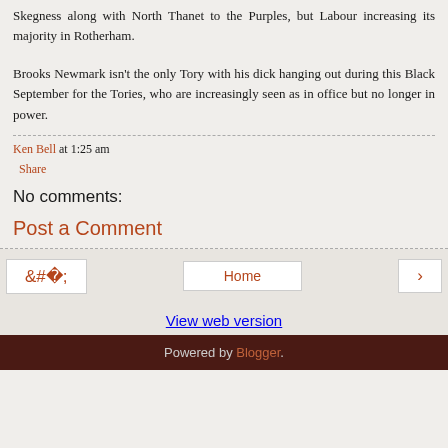Skegness along with North Thanet to the Purples, but Labour increasing its majority in Rotherham.
Brooks Newmark isn't the only Tory with his dick hanging out during this Black September for the Tories, who are increasingly seen as in office but no longer in power.
Ken Bell at 1:25 am
Share
No comments:
Post a Comment
Home
View web version
Powered by Blogger.